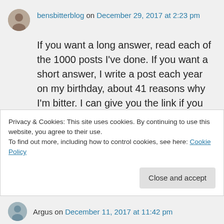bensbitterblog on December 29, 2017 at 2:23 pm
If you want a long answer, read each of the 1000 posts I've done. If you want a short answer, I write a post each year on my birthday, about 41 reasons why I'm bitter. I can give you the link if you would like.
★ Like
↳ Reply
Privacy & Cookies: This site uses cookies. By continuing to use this website, you agree to their use.
To find out more, including how to control cookies, see here: Cookie Policy
Close and accept
Argus on December 11, 2017 at 11:42 pm